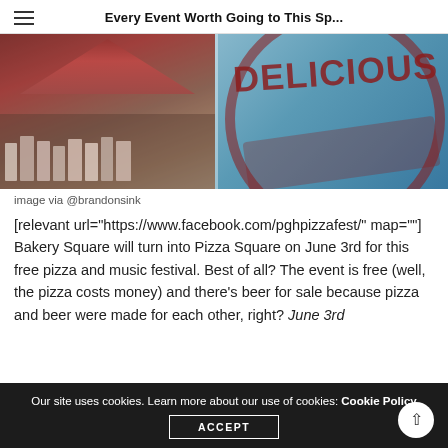Every Event Worth Going to This Sp...
[Figure (photo): Two photos side by side: left shows an outdoor event with a red tent canopy and people gathered; right shows a blue wall mural with 'DELICIOUS' text in red.]
image via @brandonsink
[relevant url="https://www.facebook.com/pghpizzafest/" map=""] Bakery Square will turn into Pizza Square on June 3rd for this free pizza and music festival. Best of all? The event is free (well, the pizza costs money) and there's beer for sale because pizza and beer were made for each other, right? June 3rd
Our site uses cookies. Learn more about our use of cookies: Cookie Policy
ACCEPT